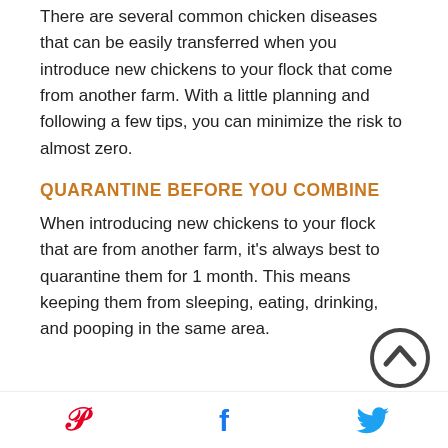There are several common chicken diseases that can be easily transferred when you introduce new chickens to your flock that come from another farm. With a little planning and following a few tips, you can minimize the risk to almost zero.
QUARANTINE BEFORE YOU COMBINE
When introducing new chickens to your flock that are from another farm, it's always best to quarantine them for 1 month. This means keeping them from sleeping, eating, drinking, and pooping in the same area.
[Figure (other): Scroll-to-top button icon — circular chevron up arrow in dark gray]
[Figure (other): Social sharing icons: Pinterest (red P), Facebook (blue f), Twitter (blue bird)]